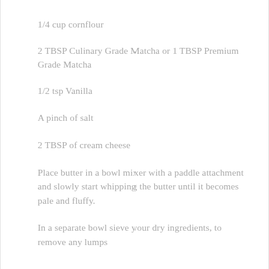1/4 cup cornflour
2 TBSP Culinary Grade Matcha or 1 TBSP Premium Grade Matcha
1/2 tsp Vanilla
A pinch of salt
2 TBSP of cream cheese
Place butter in a bowl mixer with a paddle attachment and slowly start whipping the butter until it becomes pale and fluffy.
In a separate bowl sieve your dry ingredients, to remove any lumps